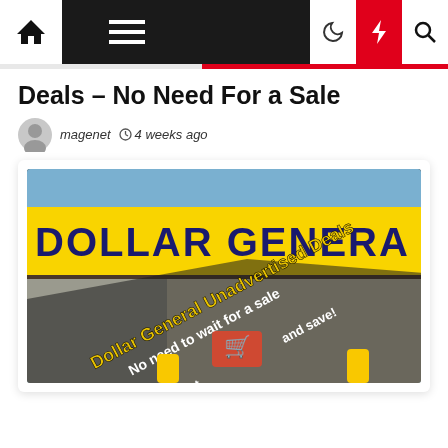Navigation bar with home, menu, dark mode, lightning, and search icons
Deals – No Need For a Sale
magenet  4 weeks ago
[Figure (photo): Dollar General store exterior with yellow sign reading DOLLAR GENERAL, overlaid with text: Dollar General Unadvertised Deals / No need to wait for a sale / Check our list and save!]